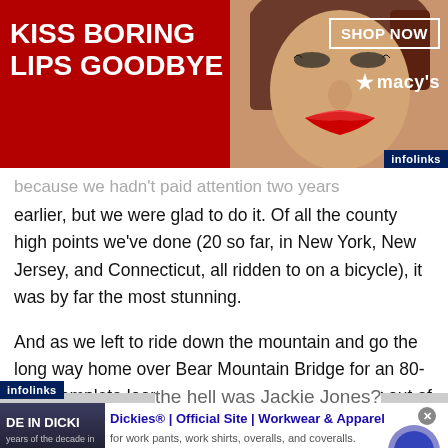[Figure (infographic): Top advertisement banner: red background with 'KISS BORING LIPS GOODBYE' text in white, woman's face with red lips in center, 'SHOP NOW' box and Macy's star logo on right, infolinks badge at bottom right]
because we hadn't paid attention two years earlier, but we were glad to do it. Of all the county high points we've done (20 so far, in New York, New Jersey, and Connecticut, all ridden to on a bicycle), it was by far the most stunning.
And as we left to ride down the mountain and go the long way home over Bear Mountain Bridge for an 80-mile complete loop, we couldn't get one thought out of our mind.
the hell was Jackie Jones?
[Figure (infographic): Bottom advertisement: Dickies workwear ad with dark image on left showing 'DE IN DICKI' text, Dickies Official Site title in blue, description text about work pants/shirts/overalls/coveralls, www.dickies.com URL in green, circular blue arrow button on right]